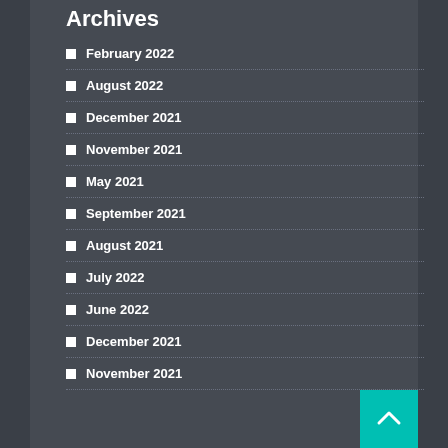Archives
February 2022
August 2022
December 2021
November 2021
May 2021
September 2021
August 2021
July 2022
June 2022
December 2021
November 2021